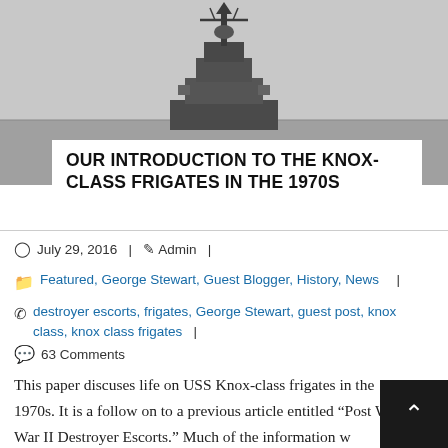[Figure (photo): Black and white photograph of a Knox-class frigate viewed from the front on open water, ship's superstructure and mast visible against a grey sky.]
OUR INTRODUCTION TO THE KNOX-CLASS FRIGATES IN THE 1970S
July 29, 2016  |  Admin  |
Featured, George Stewart, Guest Blogger, History, News  |
destroyer escorts, frigates, George Stewart, guest post, knox class, knox class frigates  |
63 Comments
This paper discuses life on USS Knox-class frigates in the 1970s. It is a follow on to a previous article entitled “Post World War II Destroyer Escorts.” Much of the information was obtained by my personal experiences aboard ships of the class which include: Commissioning Executive Officer USS Blakely